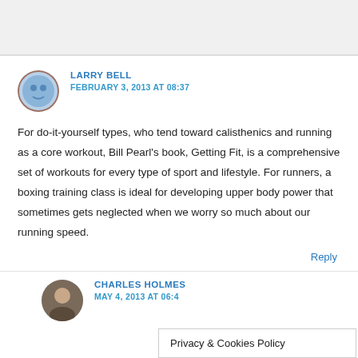[Figure (other): Top banner/header area with light gray background]
LARRY BELL
FEBRUARY 3, 2013 AT 08:37
For do-it-yourself types, who tend toward calisthenics and running as a core workout, Bill Pearl’s book, Getting Fit, is a comprehensive set of workouts for every type of sport and lifestyle. For runners, a boxing training class is ideal for developing upper body power that sometimes gets neglected when we worry so much about our running speed.
Reply
CHARLES HOLMES
MAY 4, 2013 AT 06:4
Privacy & Cookies Policy